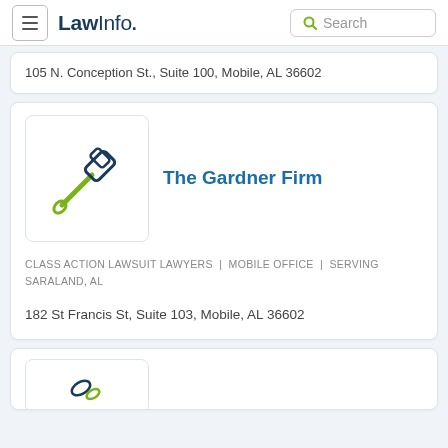LawInfo. Search
105 N. Conception St., Suite 100, Mobile, AL 36602
[Figure (logo): The Gardner Firm logo — gavel icon with green handle and dark navy head]
The Gardner Firm
CLASS ACTION LAWSUIT LAWYERS | MOBILE OFFICE | SERVING SARALAND, AL
182 St Francis St, Suite 103, Mobile, AL 36602
[Figure (logo): Partial view of another law firm logo at bottom of page]